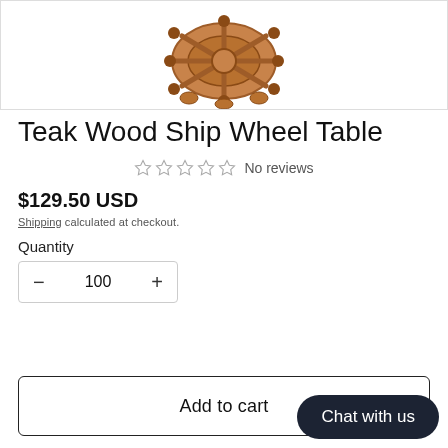[Figure (photo): Teak wood ship wheel table product image shown from above, with wooden ship wheel design and curved legs, on white background]
Teak Wood Ship Wheel Table
☆☆☆☆☆ No reviews
$129.50 USD
Shipping calculated at checkout.
Quantity
100
Add to cart
Chat with us